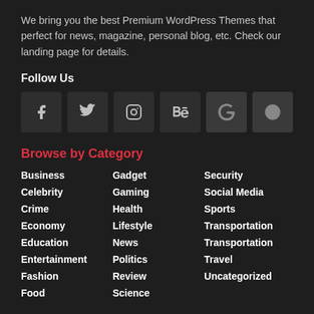We bring you the best Premium WordPress Themes that perfect for news, magazine, personal blog, etc. Check our landing page for details.
Follow Us
[Figure (infographic): Row of 6 social media icon buttons: Facebook, Twitter, Instagram, Behance, Google+, Dribbble]
Browse by Category
Business
Gadget
Security
Celebrity
Gaming
Social Media
Crime
Health
Sports
Economy
Lifestyle
Transportation
Education
News
Transportation
Entertainment
Politics
Travel
Fashion
Review
Uncategorized
Food
Science